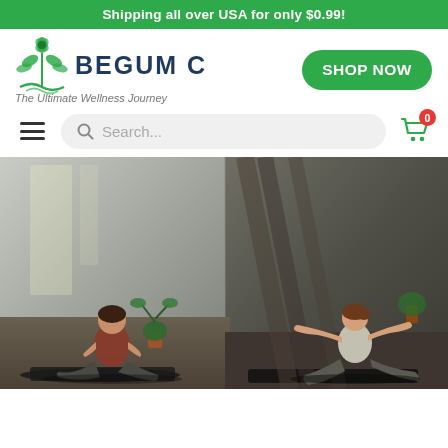Shipping all over USA for only $0.99!
[Figure (logo): Begum C brand logo with green botanical/tree icon, brand name 'BEGUM C' in dark navy, tagline 'The Ultimate Wellness Journey']
SHOP NOW
Search...
[Figure (photo): Two women doing yoga/pilates exercises on black mats in a bright studio with concrete walls, plants, and natural light coming through windows]